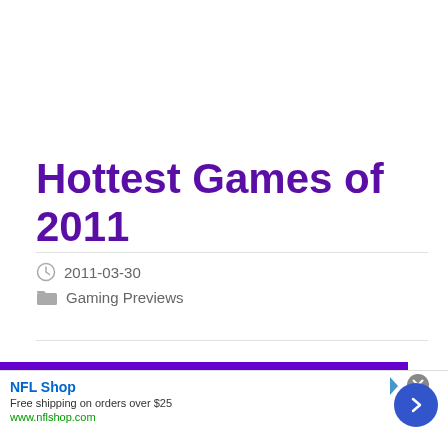Hottest Games of 2011
2011-03-30
Gaming Previews
[Figure (other): Advertisement banner for NFL Shop: Free shipping on orders over $25, www.nflshop.com]